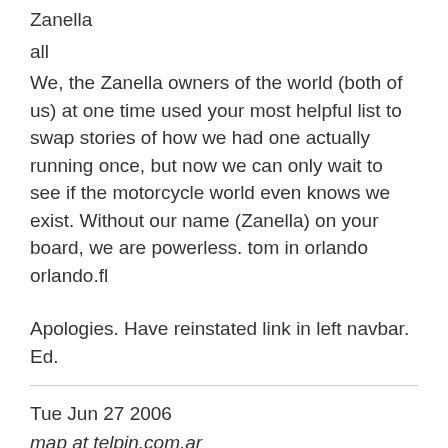Zanella
all
We, the Zanella owners of the world (both of us) at one time used your most helpful list to swap stories of how we had one actually running once, but now we can only wait to see if the motorcycle world even knows we exist. Without our name (Zanella) on your board, we are powerless. tom in orlando
orlando.fl
Apologies. Have reinstated link in left navbar. Ed.
Tue Jun 27 2006
map at telpin.com.ar